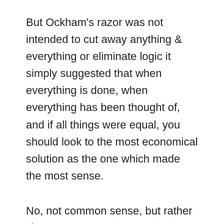But Ockham's razor was not intended to cut away anything & everything or eliminate logic it simply suggested that when everything is done, when everything has been thought of, and if all things were equal, you should look to the most economical solution as the one which made the most sense.
No, not common sense, but rather 'the most sense.'
Or. As Tao Ching said;  "seek simplicity, grasp the essential'"